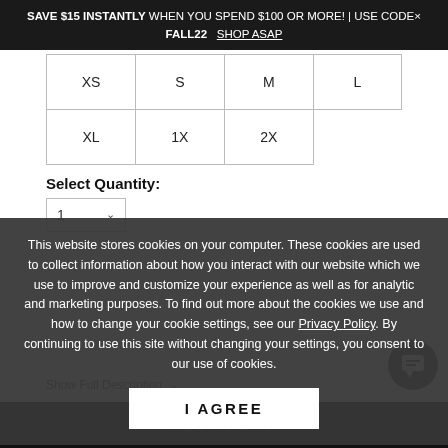SAVE $15 INSTANTLY WHEN YOU SPEND $100 OR MORE! | USE CODE× FALL22  SHOP ASAP
| XS | S | M | L |
| XL | 1X | 2X |  |
Select Quantity:
1 ∨
This website stores cookies on your computer. These cookies are used to collect information about how you interact with our website which we use to improve and customize your experience as well as for analytic and marketing purposes. To find out more about the cookies we use and how to change your cookie settings, see our Privacy Policy. By continuing to use this site without changing your settings, you consent to our use of cookies.
Show Full Description ∨
I AGREE
ADD TO BAG